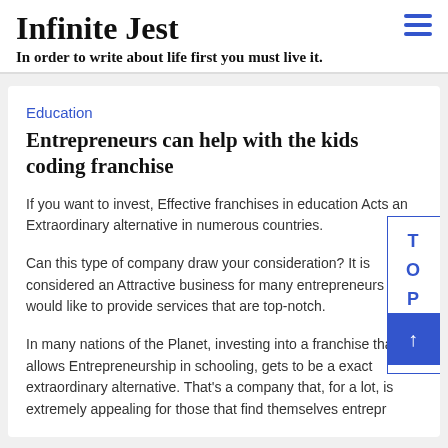Infinite Jest
In order to write about life first you must live it.
Education
Entrepreneurs can help with the kids coding franchise
If you want to invest, Effective franchises in education Acts an Extraordinary alternative in numerous countries.
Can this type of company draw your consideration? It is considered an Attractive business for many entrepreneurs who would like to provide services that are top-notch.
In many nations of the Planet, investing into a franchise that allows Entrepreneurship in schooling, gets to be a exact extraordinary alternative. That's a company that, for a lot, is extremely appealing for those that find themselves entrepr...